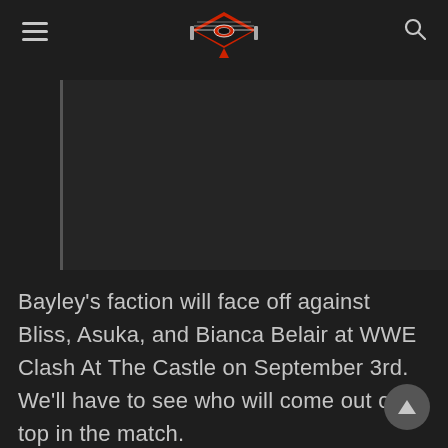[Navigation header with hamburger menu, wrestling ring logo, and search icon]
[Figure (illustration): A dark rectangular image placeholder area with a left vertical border line, representing an article image that is partially visible or loading.]
Bayley’s faction will face off against Bliss, Asuka, and Bianca Belair at WWE Clash At The Castle on September 3rd. We’ll have to see who will come out on top in the match.